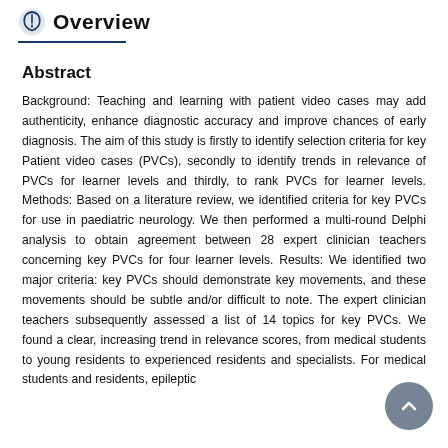Overview
Abstract
Background: Teaching and learning with patient video cases may add authenticity, enhance diagnostic accuracy and improve chances of early diagnosis. The aim of this study is firstly to identify selection criteria for key Patient video cases (PVCs), secondly to identify trends in relevance of PVCs for learner levels and thirdly, to rank PVCs for learner levels. Methods: Based on a literature review, we identified criteria for key PVCs for use in paediatric neurology. We then performed a multi-round Delphi analysis to obtain agreement between 28 expert clinician teachers concerning key PVCs for four learner levels. Results: We identified two major criteria: key PVCs should demonstrate key movements, and these movements should be subtle and/or difficult to note. The expert clinician teachers subsequently assessed a list of 14 topics for key PVCs. We found a clear, increasing trend in relevance scores, from medical students to young residents to experienced residents and specialists. For medical students and residents, epileptic